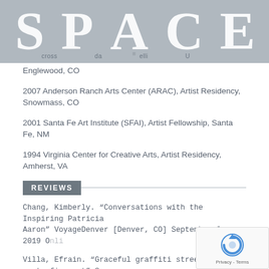[Figure (logo): SPACE logo banner with large serif letters S P A C E on a gray background, with smaller text underneath each letter: 'cross', 'da', 'elli', 'U', and decorative lines]
Englewood, CO
2007 Anderson Ranch Arts Center (ARAC), Artist Residency, Snowmass, CO
2001 Santa Fe Art Institute (SFAI), Artist Fellowship, Santa Fe, NM
1994 Virginia Center for Creative Arts, Artist Residency, Amherst, VA
REVIEWS
Chang, Kimberly. “Conversations with the Inspiring Patricia Aaron” VoyageDenver [Denver, CO] September 9, 2019 O...
Villa, Efrain. “Graceful graffiti street art meets fine art” San... Collector’s issue [Santa Fe, NM] February/March 2019 Online and